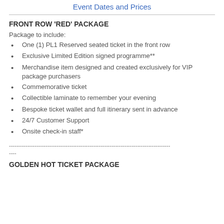Event Dates and Prices
FRONT ROW 'RED' PACKAGE
Package to include:
One (1) PL1 Reserved seated ticket in the front row
Exclusive Limited Edition signed programme**
Merchandise item designed and created exclusively for VIP package purchasers
Commemorative ticket
Collectible laminate to remember your evening
Bespoke ticket wallet and full itinerary sent in advance
24/7 Customer Support
Onsite check-in staff*
----------------------------------------------------------------------------------------
----
GOLDEN HOT TICKET PACKAGE